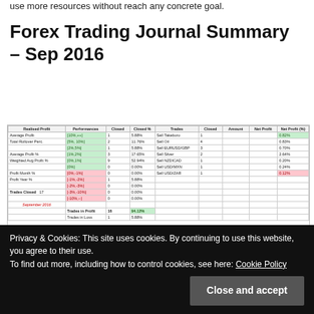use more resources without reach any concrete goal.
Forex Trading Journal Summary – Sep 2016
[Figure (table-as-image): Forex trading journal summary table for September 2016 showing Realised Profit, Performances, Closed trades, Trades details, Closed Amount, Net Profit, and Net Profit (%). Contains rows for Average Profit, Total Rollover, Average Profit %, Weighted Avg Profit %, Profit Month %, Profit Year %, Trades Closed (17). Summary shows Trades in Profit: 16 (94.12%), Trades in Loss: 1 (5.88%).]
[Figure (bar-chart): Trades Performance bar chart (left) and Trades Closed bar chart showing Closed and Net Profit (%) (right), partially visible at bottom of page.]
Privacy & Cookies: This site uses cookies. By continuing to use this website, you agree to their use.
To find out more, including how to control cookies, see here: Cookie Policy